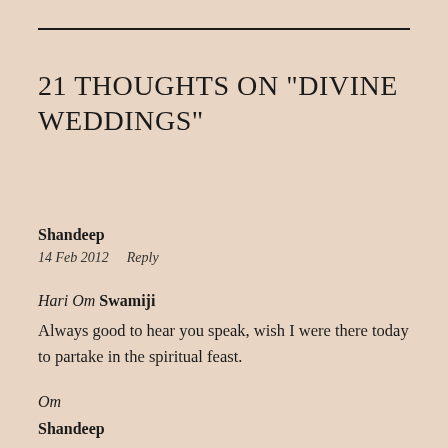21 THOUGHTS ON “DIVINE WEDDINGS”
Shandeep
14 Feb 2012    Reply
Hari Om Swamiji
Always good to hear you speak, wish I were there today to partake in the spiritual feast.
Om
Shandeep